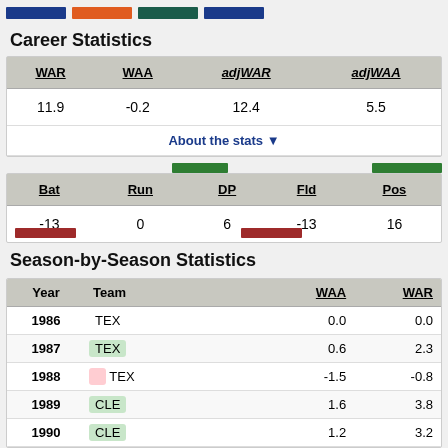Career Statistics
| WAR | WAA | adjWAR | adjWAA |
| --- | --- | --- | --- |
| 11.9 | -0.2 | 12.4 | 5.5 |
| About the stats ▼ |
| Bat | Run | DP | Fld | Pos |
| --- | --- | --- | --- | --- |
| -13 | 0 | 6 | -13 | 16 |
Season-by-Season Statistics
| Year | Team | WAA | WAR |
| --- | --- | --- | --- |
| 1986 | TEX | 0.0 | 0.0 |
| 1987 | TEX | 0.6 | 2.3 |
| 1988 | TEX | -1.5 | -0.8 |
| 1989 | CLE | 1.6 | 3.8 |
| 1990 | CLE | 1.2 | 3.2 |
| 1991 | CLE | ... | ... |